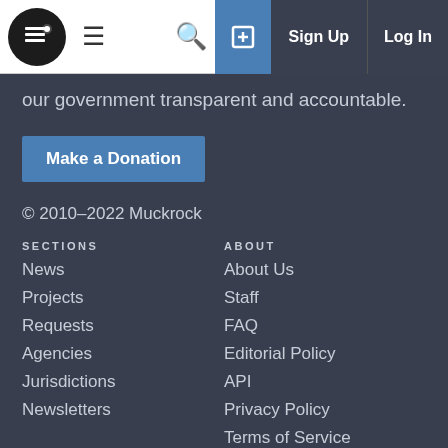[Navigation bar with logo, hamburger menu, search, sign up, log in]
our government transparent and accountable.
Make a Donation
© 2010–2022 Muckrock
SECTIONS
News
Projects
Requests
Agencies
Jurisdictions
Newsletters
ABOUT
About Us
Staff
FAQ
Editorial Policy
API
Privacy Policy
Terms of Service